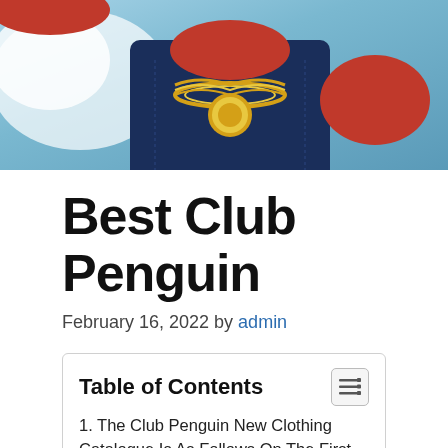[Figure (photo): Cropped illustration of a penguin character wearing a decorated military-style uniform with gold chain/medallion, red hat, against a blue/white background]
Best Club Penguin
February 16, 2022 by admin
| Table of Contents |
| --- |
| 1. The Club Penguin New Clothing Catalogue Is As Follows On The First Page Of The Penguin Style Catalog, Click The Center Of The Big Snowflake For A Pink Pom Pom Toque! |
| 2. Click On The Window On This Picture For. |